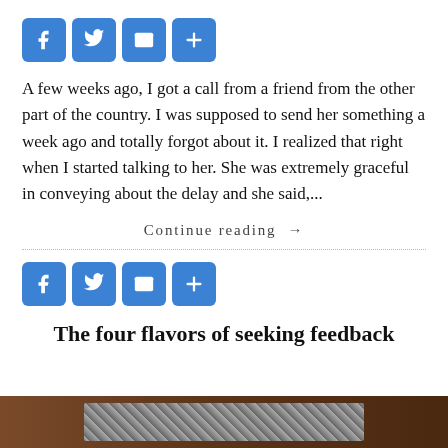[Figure (other): Social sharing icons: Facebook, Twitter, Email, Share (plus sign), all blue rounded square buttons]
A few weeks ago, I got a call from a friend from the other part of the country. I was supposed to send her something a week ago and totally forgot about it. I realized that right when I started talking to her. She was extremely graceful in conveying about the delay and she said,...
Continue reading →
[Figure (other): Social sharing icons: Facebook, Twitter, Email, Share (plus sign), all blue rounded square buttons]
The four flavors of seeking feedback
[Figure (photo): Partial photo showing a dark brown wooden surface with a grey/silver accordion or textured object in the lower portion]